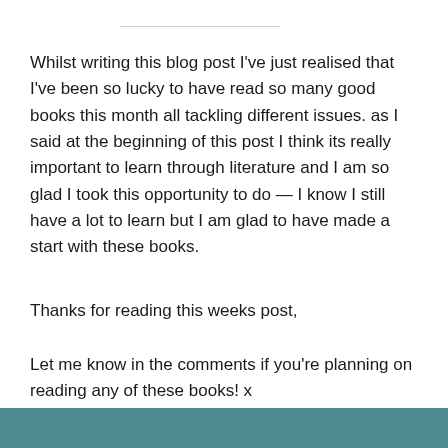Whilst writing this blog post I’ve just realised that I’ve been so lucky to have read so many good books this month all tackling different issues. as I said at the beginning of this post I think its really important to learn through literature and I am so glad I took this opportunity to do — I know I still have a lot to learn but I am glad to have made a start with these books.
Thanks for reading this weeks post,
Let me know in the comments if you’re planning on reading any of these books! x
[Figure (photo): Teal/dark teal colored image bar at the bottom of the page]